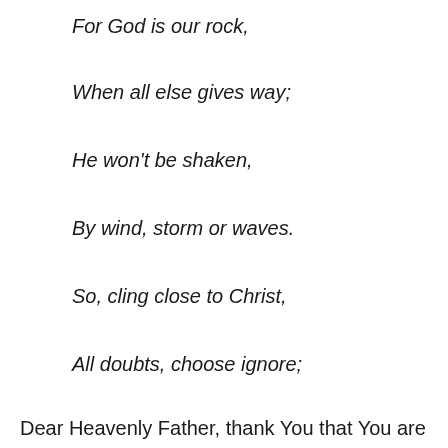For God is our rock,
When all else gives way;
He won't be shaken,
By wind, storm or waves.
So, cling close to Christ,
All doubts, choose ignore;
God will be with us,
Beside and before.
Dear Heavenly Father, thank You that You are